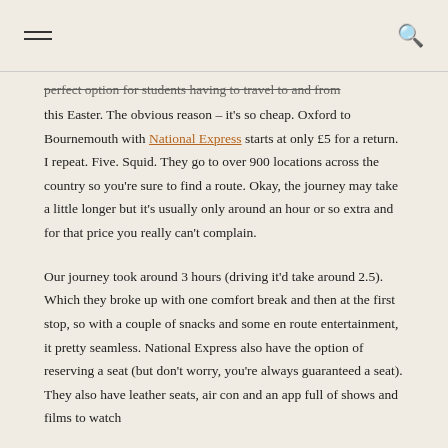[hamburger menu] [search icon]
perfect option for students having to travel to and from this Easter. The obvious reason – it's so cheap. Oxford to Bournemouth with National Express starts at only £5 for a return. I repeat. Five. Squid. They go to over 900 locations across the country so you're sure to find a route. Okay, the journey may take a little longer but it's usually only around an hour or so extra and for that price you really can't complain.
Our journey took around 3 hours (driving it'd take around 2.5). Which they broke up with one comfort break and then at the first stop, so with a couple of snacks and some en route entertainment, it pretty seamless. National Express also have the option of reserving a seat (but don't worry, you're always guaranteed a seat). They also have leather seats, air con and an app full of shows and films to watch